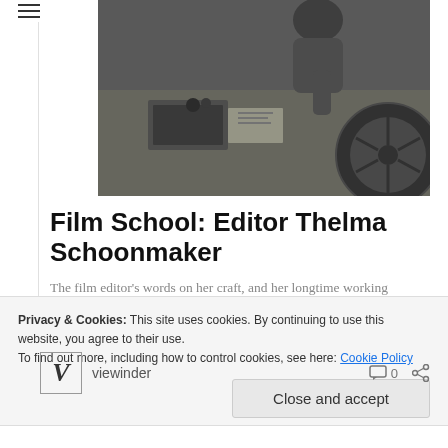[Figure (photo): Black and white photograph of a film editor (Thelma Schoonmaker) working at an editing table with film reels and equipment visible.]
Film School: Editor Thelma Schoonmaker
The film editor's words on her craft, and her longtime working relationship with Martin Scorsese.
viewinder
Privacy & Cookies: This site uses cookies. By continuing to use this website, you agree to their use.
To find out more, including how to control cookies, see here: Cookie Policy
Close and accept